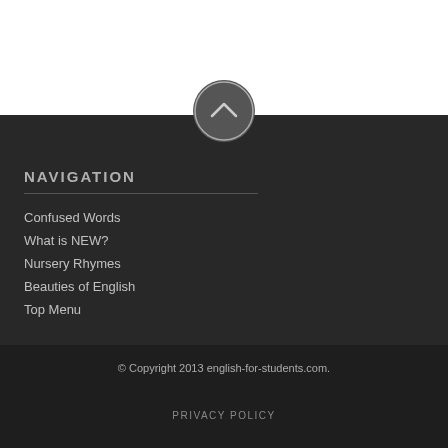[Figure (illustration): Circular dark grey scroll-to-top button with an upward chevron arrow, positioned at the boundary between the white top area and the dark navigation section.]
NAVIGATION
Confused Words
What is NEW?
Nursery Rhymes
Beauties of English
Top Menu
© Copyright 2013 english-for-students.com.
PRIVACY POLICY